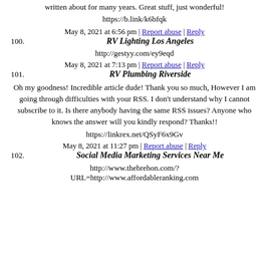written about for many years. Great stuff, just wonderful!
https://b.link/k6bfqk
May 8, 2021 at 6:56 pm | Report abuse | Reply
100. RV Lighting Los Angeles
http://gestyy.com/ey9eqd
May 8, 2021 at 7:13 pm | Report abuse | Reply
101. RV Plumbing Riverside
Oh my goodness! Incredible article dude! Thank you so much, However I am going through difficulties with your RSS. I don’t understand why I cannot subscribe to it. Is there anybody having the same RSS issues? Anyone who knows the answer will you kindly respond? Thanks!!
https://linkrex.net/QSyF6x9Gv
May 8, 2021 at 11:27 pm | Report abuse | Reply
102. Social Media Marketing Services Near Me
http://www.thebrehon.com/?URL=http://www.affordableranking.com